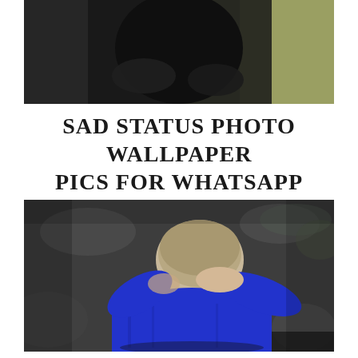[Figure (photo): Cropped top portion of a photo showing a person in a dark shirt with greenish background, only the lower torso and arms visible]
SAD STATUS PHOTO WALLPAPER PICS FOR WHATSAPP
[Figure (photo): Black and white photo of a boy or young person in a bright blue shirt, head bowed down and arms crossed behind their neck in a sad or defeated posture, sitting outdoors on a dark surface with blurred foliage background]